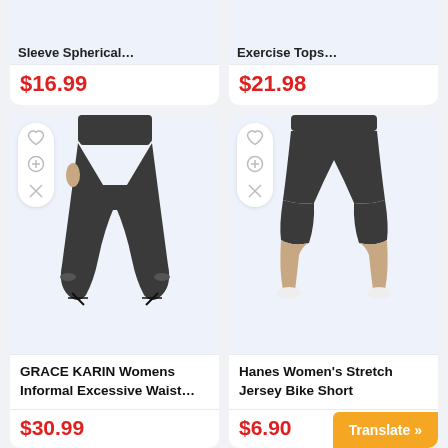Sleeve Spherical…
$16.99
Exercise Tops…
$21.98
[Figure (photo): Woman wearing dark jogger pants with strappy heels, showing lower body]
GRACE KARIN Womens Informal Excessive Waist…
$30.99
[Figure (photo): Woman wearing dark bike shorts with white sneakers, showing lower body]
Hanes Women's Stretch Jersey Bike Short
$6.90
Translate »